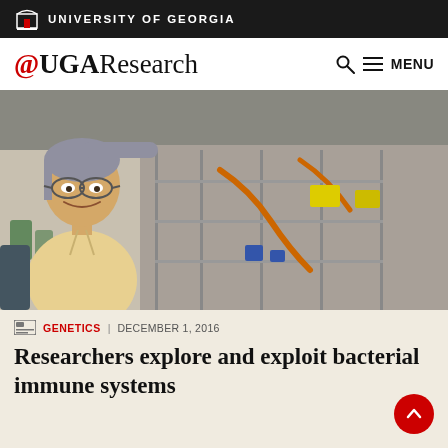UNIVERSITY OF GEORGIA
@UGAResearch
[Figure (photo): A smiling man with glasses wearing a light yellow shirt standing in front of laboratory equipment with metal stands, tubes, and orange hoses in a research lab]
GENETICS | DECEMBER 1, 2016
Researchers explore and exploit bacterial immune systems